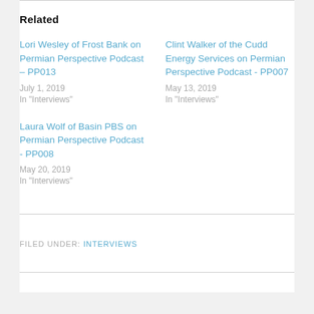Related
Lori Wesley of Frost Bank on Permian Perspective Podcast – PP013
July 1, 2019
In "Interviews"
Clint Walker of the Cudd Energy Services on Permian Perspective Podcast - PP007
May 13, 2019
In "Interviews"
Laura Wolf of Basin PBS on Permian Perspective Podcast - PP008
May 20, 2019
In "Interviews"
FILED UNDER: INTERVIEWS